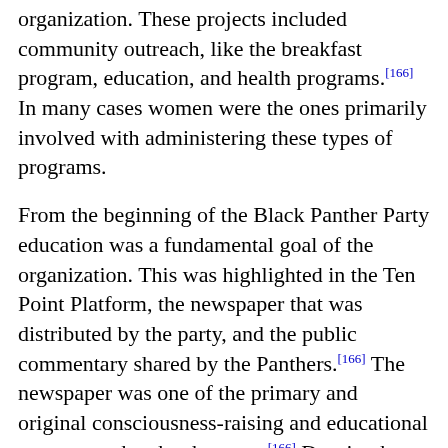organization. These projects included community outreach, like the breakfast program, education, and health programs.[166] In many cases women were the ones primarily involved with administering these types of programs.
From the beginning of the Black Panther Party education was a fundamental goal of the organization. This was highlighted in the Ten Point Platform, the newspaper that was distributed by the party, and the public commentary shared by the Panthers.[166] The newspaper was one of the primary and original consciousness-raising and educational measures taken by the party.[166] Despite the fact that men were out distributing the newspaper, women like Elaine Brown and Kathleen Cleaver were behind the scenes working on those papers.[177]